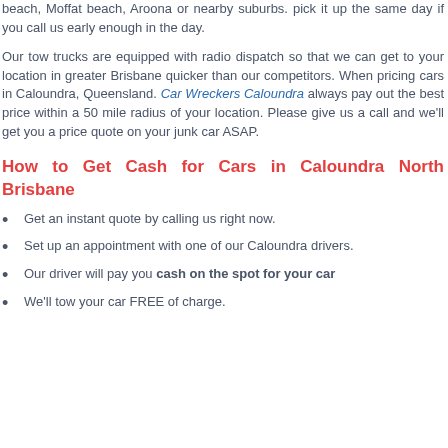beach, Moffat beach, Aroona or nearby suburbs. pick it up the same day if you call us early enough in the day.
Our tow trucks are equipped with radio dispatch so that we can get to your location in greater Brisbane quicker than our competitors. When pricing cars in Caloundra, Queensland. Car Wreckers Caloundra always pay out the best price within a 50 mile radius of your location. Please give us a call and we'll get you a price quote on your junk car ASAP.
How to Get Cash for Cars in Caloundra North Brisbane
Get an instant quote by calling us right now.
Set up an appointment with one of our Caloundra drivers.
Our driver will pay you cash on the spot for your car
We'll tow your car FREE of charge.